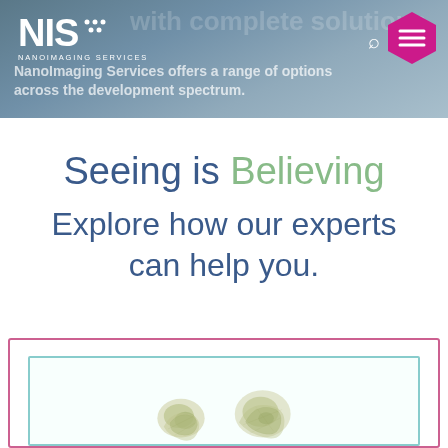NIS · NANOIMAGING SERVICES
NanoImaging Services offers a range of options across the development spectrum.
Seeing is Believing
Explore how our experts can help you.
[Figure (photo): Two microscopy images inside nested border boxes (pink outer, teal inner), showing electron microscopy structures at the bottom of the page.]